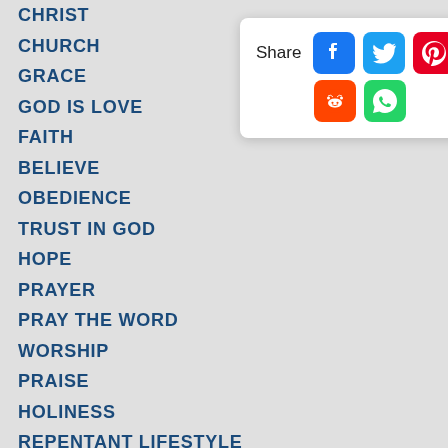CHRIST
CHURCH
GRACE
GOD IS LOVE
FAITH
BELIEVE
OBEDIENCE
TRUST IN GOD
HOPE
PRAYER
PRAY THE WORD
WORSHIP
PRAISE
HOLINESS
REPENTANT LIFESTYLE
ETERNAL LIFE
FRUIT OF THE SPIRIT
BLESSED BY GOD
FALSE DOCTRINE
CESSATIONISM
[Figure (infographic): Share popup with social media icons: Facebook, Twitter, Pinterest, Tumblr, Reddit, WhatsApp]